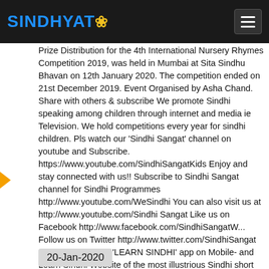SINDHYAT
Prize Distribution for the 4th International Nursery Rhymes Competition 2019, was held in Mumbai at Sita Sindhu Bhavan on 12th January 2020. The competition ended on 21st December 2019. Event Organised by Asha Chand. Share with others & subscribe We promote Sindhi speaking among children through internet and media ie Television. We hold competitions every year for sindhi children. Pls watch our 'Sindhi Sangat' channel on youtube and Subscribe. https://www.youtube.com/SindhiSangatKids Enjoy and stay connected with us!! Subscribe to Sindhi Sangat channel for Sindhi Programmes http://www.youtube.com/WeSindhi You can also visit us at http://www.youtube.com/Sindhi Sangat Like us on Facebook http://www.facebook.com/SindhiSangatW... Follow us on Twitter http://www.twitter.com/SindhiSangat Download for Free 'LEARN SINDHI' app on Mobile- and Learn Sindhi Website of the most illustrious Sindhi short story writer http://www.sundriuttam.com
20-Jan-2020
Keywords:sindhi sangat,www.SindhiSangat.com,Asha Chand,Sindhi Saathi,Learn Sindhi,Sindhi Nursery Rhymes,Sindhi Nursery Competition 2017,Sindhi song,Sindhi Rhymes,Sindhi Nursery Rhymes Competition 2019,Bhakti,Lilani...